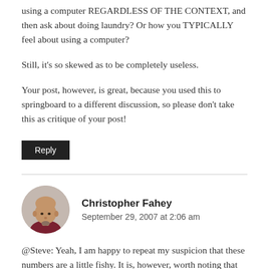using a computer REGARDLESS OF THE CONTEXT, and then ask about doing laundry? Or how you TYPICALLY feel about using a computer?
Still, it's so skewed as to be completely useless.
Your post, however, is great, because you used this to springboard to a different discussion, so please don't take this as critique of your post!
Reply
Christopher Fahey
September 29, 2007 at 2:06 am
@Steve: Yeah, I am happy to repeat my suspicion that these numbers are a little fishy. It is, however, worth noting that the methodology only allowed them, it seems, to measure time spent on activities and the pleasantness of